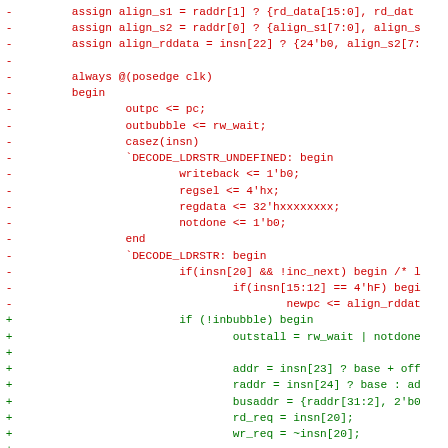[Figure (screenshot): Diff view of Verilog/SystemVerilog source code showing removed lines (red, marked with -) and added lines (green, marked with +). The code includes signal assignments, always block with posedge clk, casez statement, DECODE_LDRSTR_UNDEFINED and DECODE_LDRSTR cases, and various register assignments.]